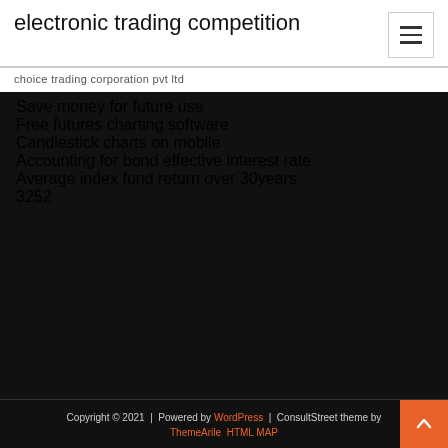electronic trading competition
choice trading corporation pvt ltd
Save money for future use
Free futures charting software
Candlestick charts on mobile
Accounting for bond effective interest rate
Average index fund return over 30years
3252
Copyright © 2021 | Powered by WordPress | ConsultStreet theme by ThemeArile HTML MAP